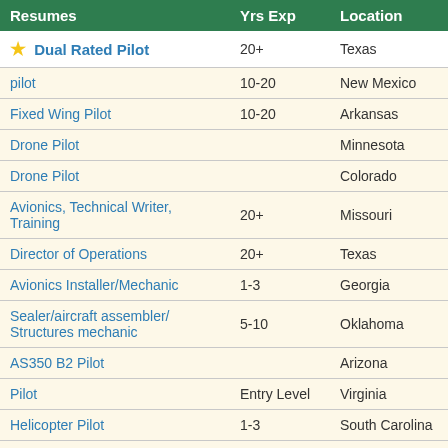| Resumes | Yrs Exp | Location |
| --- | --- | --- |
| ⭐ Dual Rated Pilot | 20+ | Texas |
| pilot | 10-20 | New Mexico |
| Fixed Wing Pilot | 10-20 | Arkansas |
| Drone Pilot |  | Minnesota |
| Drone Pilot |  | Colorado |
| Avionics, Technical Writer, Training | 20+ | Missouri |
| Director of Operations | 20+ | Texas |
| Avionics Installer/Mechanic | 1-3 | Georgia |
| Sealer/aircraft assembler/ Structures mechanic | 5-10 | Oklahoma |
| AS350 B2 Pilot |  | Arizona |
| Pilot | Entry Level | Virginia |
| Helicopter Pilot | 1-3 | South Carolina |
| Pilatus PC12 Pilot |  | California |